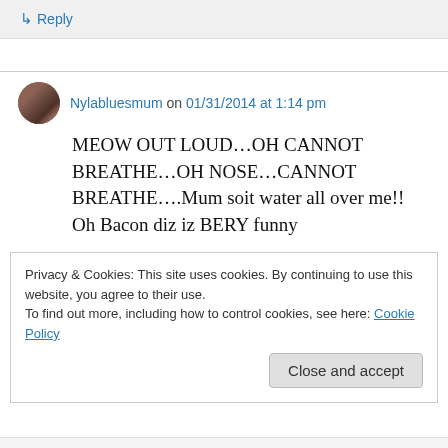↳ Reply
Nylabluesmum on 01/31/2014 at 1:14 pm
MEOW OUT LOUD…OH CANNOT BREATHE…OH NOSE…CANNOT BREATHE….Mum soit water all over me!! Oh Bacon diz iz BERY funny
Privacy & Cookies: This site uses cookies. By continuing to use this website, you agree to their use.
To find out more, including how to control cookies, see here: Cookie Policy
Close and accept